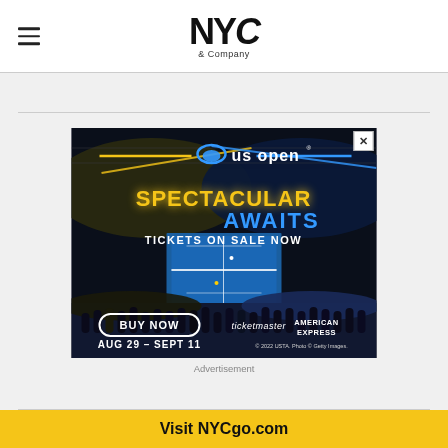NYC & Company
[Figure (photo): US Open tennis advertisement banner showing a packed stadium at night with the text 'SPECTACULAR AWAITS', 'TICKETS ON SALE NOW', 'BUY NOW', 'AUG 29 - SEPT 11', with Ticketmaster and American Express logos. Copyright 2022 USTA. Photo Getty Images.]
Advertisement
Visit NYCgo.com